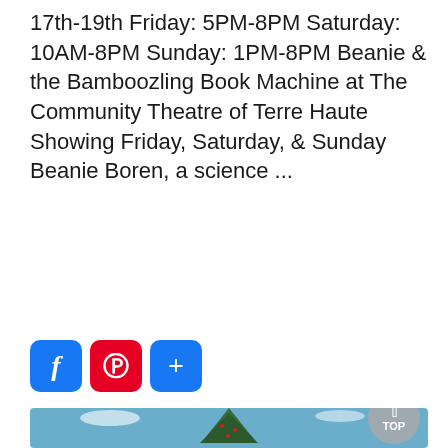17th-19th Friday: 5PM-8PM Saturday: 10AM-8PM Sunday: 1PM-8PM Beanie & the Bamboozling Book Machine at The Community Theatre of Terre Haute Showing Friday, Saturday, & Sunday Beanie Boren, a science ...
[Figure (other): Three social share buttons: Facebook (blue with f), Pinterest (red with P), and a blue plus (+) button]
[Figure (photo): Outdoor photograph of a tall decorated Christmas tree with red and white ornaments, surrounded by trees against a blue sky with wispy clouds]